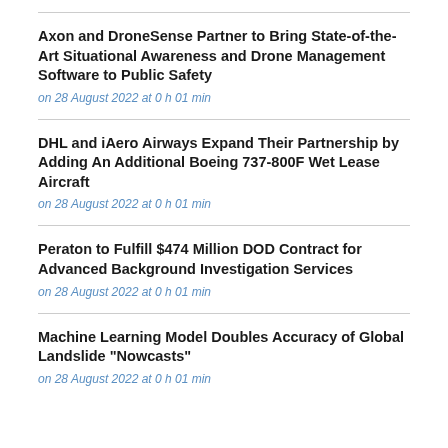Axon and DroneSense Partner to Bring State-of-the-Art Situational Awareness and Drone Management Software to Public Safety
on 28 August 2022 at 0 h 01 min
DHL and iAero Airways Expand Their Partnership by Adding An Additional Boeing 737-800F Wet Lease Aircraft
on 28 August 2022 at 0 h 01 min
Peraton to Fulfill $474 Million DOD Contract for Advanced Background Investigation Services
on 28 August 2022 at 0 h 01 min
Machine Learning Model Doubles Accuracy of Global Landslide "Nowcasts"
on 28 August 2022 at 0 h 01 min